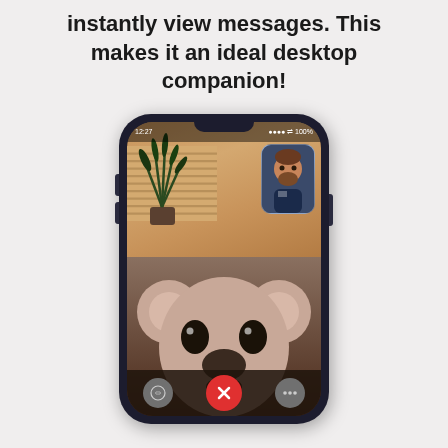instantly view messages. This makes it an ideal desktop companion!
[Figure (screenshot): iPhone showing a FaceTime call with a koala Animoji on screen and a bearded male Memoji in the top-right corner thumbnail. Call controls visible at the bottom including effects, end call, and more buttons.]